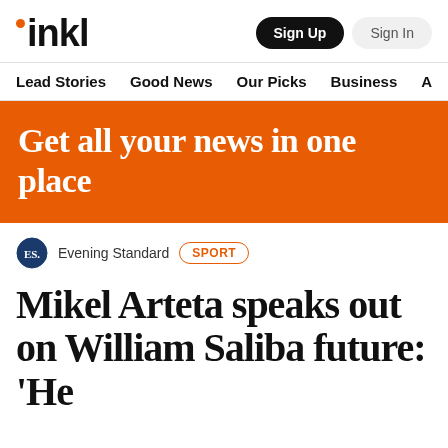inkl — Sign Up / Sign In
Lead Stories   Good News   Our Picks   Business   A
Get all your news in one place
Evening Standard   SPORT
Mikel Arteta speaks out on William Saliba future: 'He